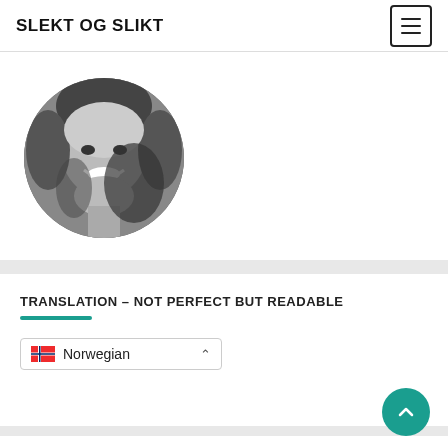SLEKT OG SLIKT
[Figure (photo): Circular black-and-white portrait photo of a smiling person with curly hair]
TRANSLATION – NOT PERFECT BUT READABLE
Norwegian (language selector dropdown)
SØK I ALLE INNLEGG: